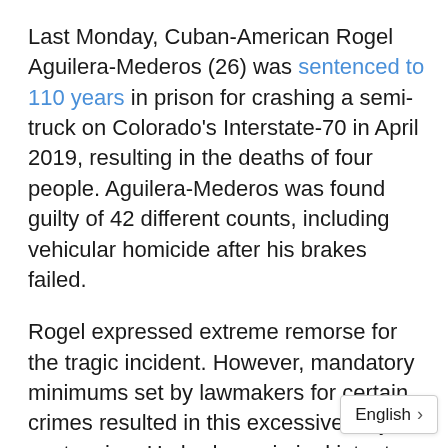Last Monday, Cuban-American Rogel Aguilera-Mederos (26) was sentenced to 110 years in prison for crashing a semi-truck on Colorado's Interstate-70 in April 2019, resulting in the deaths of four people. Aguilera-Mederos was found guilty of 42 different counts, including vehicular homicide after his brakes failed.
Rogel expressed extreme remorse for the tragic incident. However, mandatory minimums set by lawmakers for certain crimes resulted in this excessive, unjust sentencing. He had no criminal intent. He was not under the